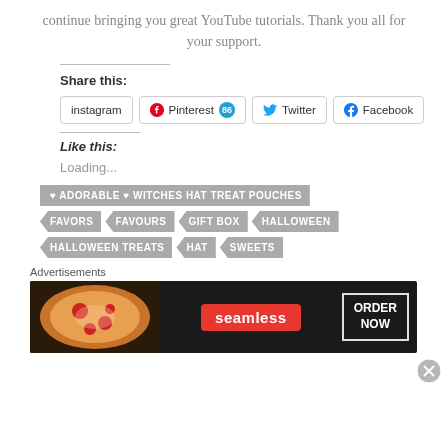continue bringing you great YouTube tutorials. Thank you all for your support.
Share this:
[Figure (other): Social sharing buttons: instagram, Pinterest (86), Twitter, Facebook]
Like this:
Loading...
♥ ADORABLE ♥ WITCHES HAT TREAT POUCHES
FAVORS  FAVOURS  GIFT BOX  HALLOWEEN
HALLOWEEN TREATS  HAT  SWEETS
Advertisements
[Figure (other): Seamless food delivery advertisement banner showing pizza image with ORDER NOW button]